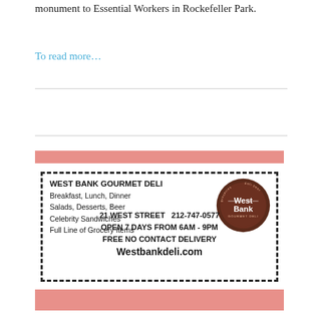monument to Essential Workers in Rockefeller Park.
To read more…
[Figure (illustration): West Bank Gourmet Deli advertisement. White background with pink/salmon top and bottom bands and a dashed black border. Text: WEST BANK GOURMET DELI, Breakfast, Lunch, Dinner, Salads, Desserts, Beer, Celebrity Sandwiches, Full Line of Grocery Items, 21 WEST STREET 212-747-0577, OPEN 7 DAYS FROM 6AM - 9PM, FREE NO CONTACT DELIVERY, Westbankdeli.com. Brown circular logo with 'West Bank GOURMET DELI' text arranged in a circle with categories: deli, beer, breakfast, lunch, catering, gourmet goods, groceries.]